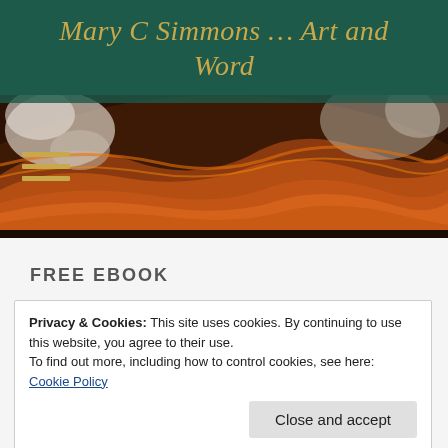Mary C Simmons … Art and Word
[Figure (photo): Close-up photograph of banded agate stone in warm orange, red, brown tones with white mineral deposits]
FREE EBOOK
Privacy & Cookies: This site uses cookies. By continuing to use this website, you agree to their use.
To find out more, including how to control cookies, see here:
Cookie Policy
Close and accept